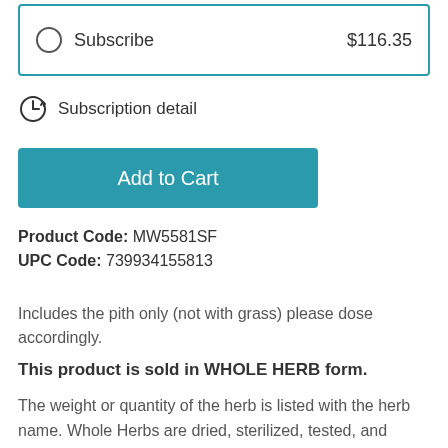Subscribe $116.35
Subscription detail
Add to Cart
Product Code: MW5581SF
UPC Code: 739934155813
Includes the pith only (not with grass) please dose accordingly.
This product is sold in WHOLE HERB form.
The weight or quantity of the herb is listed with the herb name. Whole Herbs are dried, sterilized, tested, and packaged in vacuum-sealed bags or cartons.